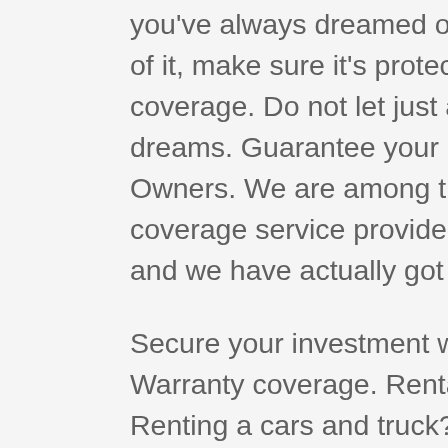you've always dreamed of or the very first version of it, make sure it's protected with the best coverage. Do not let just anyone secure your dreams. Guarantee your house with Auto-Owners. We are among the leading insurance coverage service providers in the United States and we have actually got you covered.
Secure your investment with our Purchase Rate Warranty coverage. Rental Vehicle Protection Renting a cars and truck? You're covered for the broadest protections and limitations specified on your policy, along with other charges and costs that the rental cars and truck